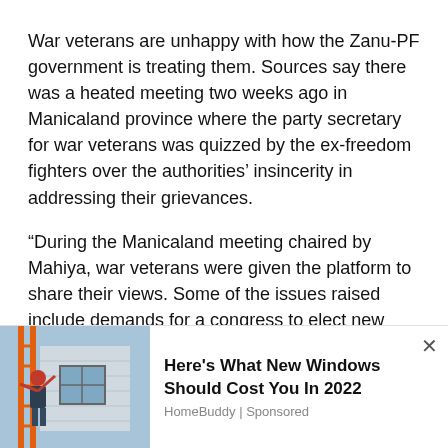War veterans are unhappy with how the Zanu-PF government is treating them. Sources say there was a heated meeting two weeks ago in Manicaland province where the party secretary for war veterans was quizzed by the ex-freedom fighters over the authorities' insincerity in addressing their grievances.
“During the Manicaland meeting chaired by Mahiya, war veterans were given the platform to share their views. Some of the issues raised include demands for a congress to elect new leadership,” sources who attended the meeting told The NewsHawks.
“They accused (Christopher) Mutsvangwa and (Douglas) Mahiya of holding them to ransom and using them for their
[Figure (photo): Photo of a person on a ladder working on windows of a house, used as advertisement image for HomeBuddy window replacement ad]
Here's What New Windows Should Cost You In 2022
HomeBuddy | Sponsored